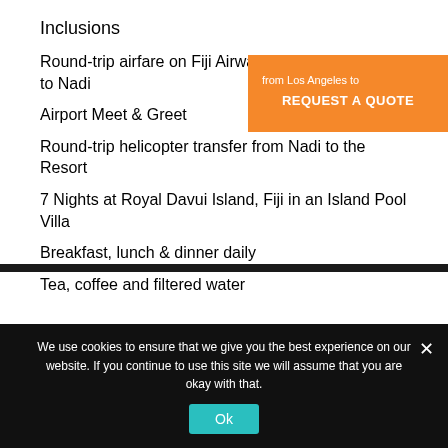Inclusions
Round-trip airfare on Fiji Airways from Los Angeles to Nadi
Airport Meet & Greet
Round-trip helicopter transfer from Nadi to the Resort
7 Nights at Royal Davui Island, Fiji in an Island Pool Villa
Breakfast, lunch & dinner daily
Tea, coffee and filtered water
[Figure (other): Orange 'REQUEST A QUOTE' button overlay with text 'from Los Angeles to REQUEST A QUOTE']
We use cookies to ensure that we give you the best experience on our website. If you continue to use this site we will assume that you are okay with that.